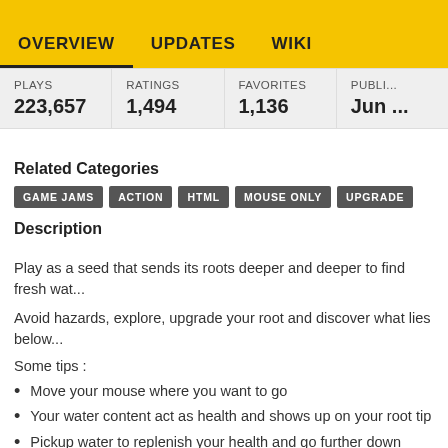OVERVIEW  UPDATES  WIKI
| PLAYS | RATINGS | FAVORITES | PUBLI... |
| --- | --- | --- | --- |
| 223,657 | 1,494 | 1,136 | Jun ... |
Related Categories
GAME JAMS  ACTION  HTML  MOUSE ONLY  UPGRADE
Description
Play as a seed that sends its roots deeper and deeper to find fresh wat...
Avoid hazards, explore, upgrade your root and discover what lies below...
Some tips :
Move your mouse where you want to go
Your water content act as health and shows up on your root tip
Pickup water to replenish your health and go further down
You get 1 flower every 100 cm
You get 1 flower each time you drink fertilizer
Upgrading is key !
Small roots move randomly, but they can go faster and get water fro...